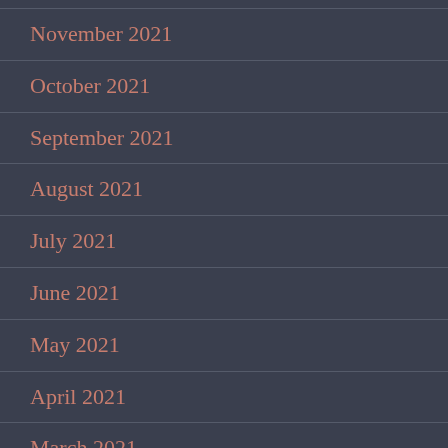November 2021
October 2021
September 2021
August 2021
July 2021
June 2021
May 2021
April 2021
March 2021